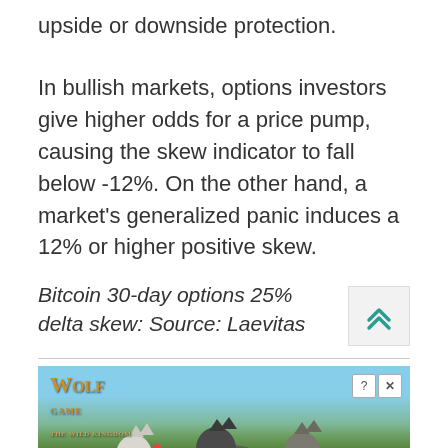upside or downside protection.
In bullish markets, options investors give higher odds for a price pump, causing the skew indicator to fall below -12%. On the other hand, a market's generalized panic induces a 12% or higher positive skew.
Bitcoin 30-day options 25% delta skew: Source: Laevitas
[Figure (photo): Wolf Game advertisement showing wolves in a forest with text 'THE HUNT IS ON!']